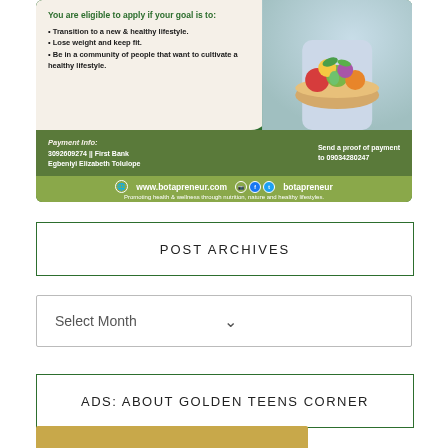[Figure (infographic): Botapreneur health program advertisement banner with green and beige design. Top section has beige panel with eligibility text and bullet points about healthy lifestyle, weight loss, and community. Right side shows a photo of person holding a basket of fruits and vegetables. Middle section in dark olive green shows payment info: 3092609274 || First Bank, Egbeniyi Elizabeth Tolulope, Send a proof of payment to 09034280247. Bottom bar shows website www.botapreneur.com, social media icons, handle 'botapreneur', and tagline 'Promoting health & wellness through nutrition, nature and healthy lifestyles.']
POST ARCHIVES
Select Month
ADS: ABOUT GOLDEN TEENS CORNER